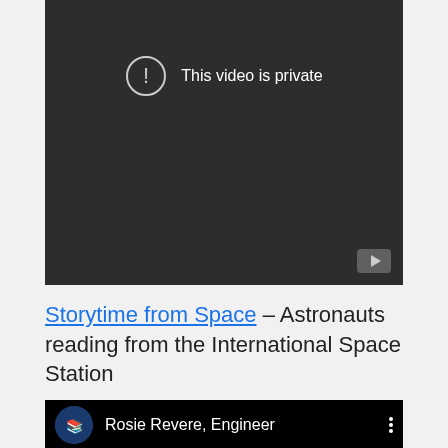[Figure (screenshot): A dark-themed YouTube video player showing 'This video is private' message with an exclamation mark inside a circle icon, and a YouTube logo button in the bottom right corner.]
Storytime from Space – Astronauts reading from the International Space Station
[Figure (screenshot): A YouTube video thumbnail showing 'Rosie Revere, Engineer' with a circular logo/avatar on the left and a three-dot menu icon on the right, on a black background.]